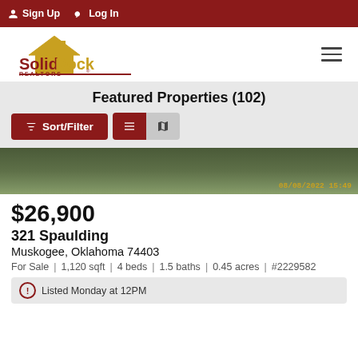Sign Up  Log In
[Figure (logo): Solid Rock Realtors logo with house icon]
Featured Properties (102)
[Figure (photo): Partial view of a property exterior with grass yard, timestamp 08/08/2022 15:49]
$26,900
321 Spaulding
Muskogee, Oklahoma 74403
For Sale | 1,120 sqft | 4 beds | 1.5 baths | 0.45 acres | #2229582
Listed Monday at 12PM